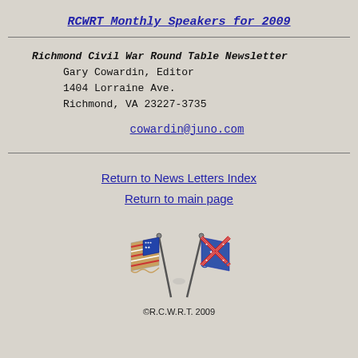RCWRT Monthly Speakers for 2009
Richmond Civil War Round Table Newsletter
Gary Cowardin, Editor
1404 Lorraine Ave.
Richmond, VA 23227-3735

cowardin@juno.com
Return to News Letters Index
Return to main page
[Figure (illustration): Two crossed Civil War era flags — Union and Confederate — illustration]
©R.C.W.R.T. 2009